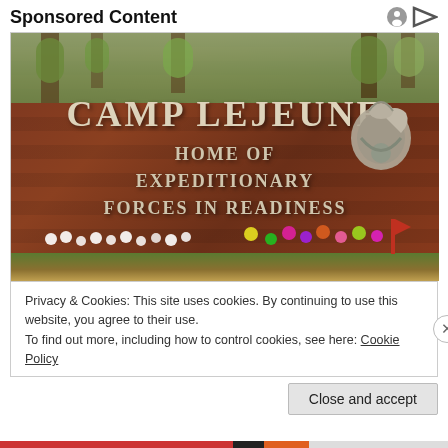Sponsored Content
[Figure (photo): Photograph of the Camp Lejeune entrance sign — a large brick wall engraved with 'CAMP LEJEUNE HOME OF EXPEDITIONARY FORCES IN READINESS', with the Marine Corps eagle-globe-and-anchor emblem on the right and flowers placed in front of the wall.]
Privacy & Cookies: This site uses cookies. By continuing to use this website, you agree to their use.
To find out more, including how to control cookies, see here: Cookie Policy
Close and accept